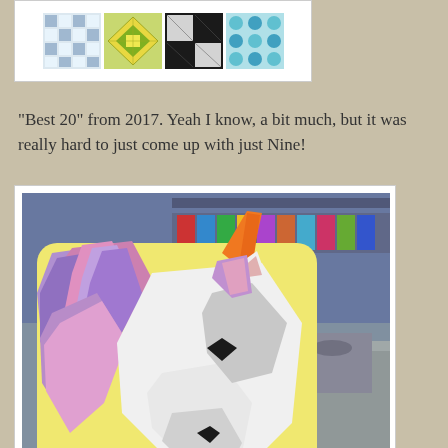[Figure (photo): A collage of quilt photos shown at the top of the page, partially cropped. Four quilt thumbnail images visible in a white-bordered frame.]
"Best 20" from 2017. Yeah I know, a bit much, but it was really hard to just come up with just Nine!
[Figure (photo): A yellow pillow with a paper pieced unicorn design. The unicorn has a colorful purple and pink mane, orange horn, white face, and gray shading. The pillow is sitting on a surface in what appears to be a craft room or classroom.]
Dottie's paper pieced Unicorn pillow,